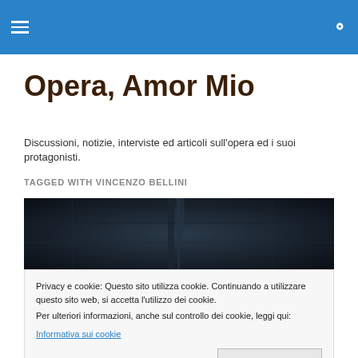Opera, Amor Mio — navigation bar with hamburger menu and search icon
Opera, Amor Mio
Discussioni, notizie, interviste ed articoli sull'opera ed i suoi protagonisti.
TAGGED WITH VINCENZO BELLINI
[Figure (photo): Dark background photo showing a figure or scene from an opera production]
Privacy e cookie: Questo sito utilizza cookie. Continuando a utilizzare questo sito web, si accetta l'utilizzo dei cookie.
Per ulteriori informazioni, anche sul controllo dei cookie, leggi qui:
Informativa sui cookie
[Figure (photo): Dark background photo of an opera scene at the bottom of the page]